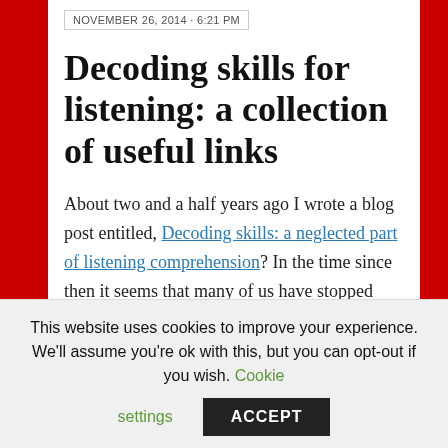NOVEMBER 26, 2014 · 6:21 PM
Decoding skills for listening: a collection of useful links
About two and a half years ago I wrote a blog post entitled, Decoding skills: a neglected part of listening comprehension? In the time since then it seems that many of us have stopped neglecting those poor decoding skills, and that an interest in how decoding can help develop both listening and reading skills is
This website uses cookies to improve your experience. We'll assume you're ok with this, but you can opt-out if you wish. Cookie settings ACCEPT